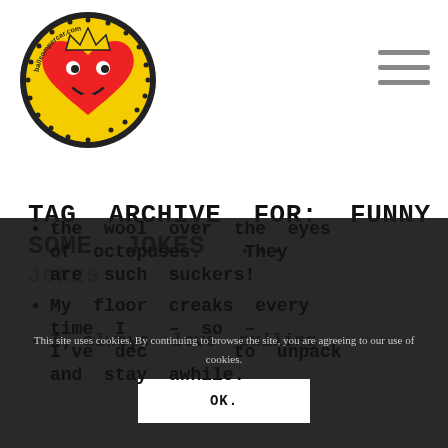[Figure (logo): Circular logo with a cartoon heart character wearing a crown, with text around the border reading 'ballsompercar.com']
TAG ARCHIVE FOR: FUNNY JOKE SOME JOKES ...
JOKES
I always love pulling the wool over the eyes of octopuses. They are such suckers!
My floor creaks every time I – so – I've decided to unpack and stay awhile.
This site uses cookies. By continuing to browse the site, you are agreeing to our use of cookies.
Ok.